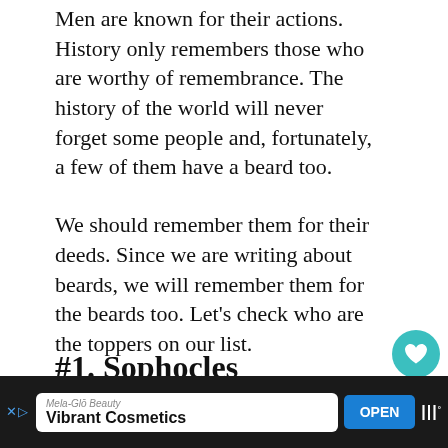Men are known for their actions. History only remembers those who are worthy of remembrance. The history of the world will never forget some people and, fortunately, a few of them have a beard too.
We should remember them for their deeds. Since we are writing about beards, we will remember them for the beards too. Let’s check who are the toppers on our list.
#1. Sophocles
[Figure (photo): Dark portrait photo area showing top of person's head]
[Figure (screenshot): Advertisement bar: Mela-Glo Beauty Vibrant Cosmetics with OPEN button]